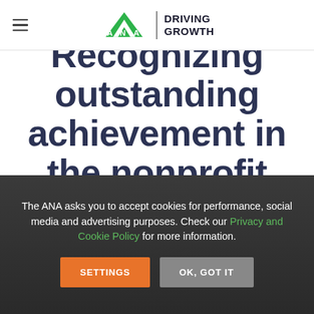[Figure (logo): ANA Driving Growth logo with hamburger menu icon on the left]
Recognizing outstanding achievement in the nonprofit sector with
The ANA asks you to accept cookies for performance, social media and advertising purposes. Check our Privacy and Cookie Policy for more information.
SETTINGS   OK, GOT IT